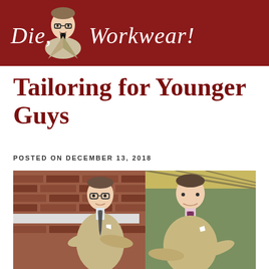Die, Workwear!
Tailoring for Younger Guys
POSTED ON DECEMBER 13, 2018
[Figure (photo): Two young men dressed in tan/khaki blazers and striped ties standing outdoors in front of a brick wall. The man on the left wears glasses and has his arms crossed; the man on the right leans with one arm on a railing.]